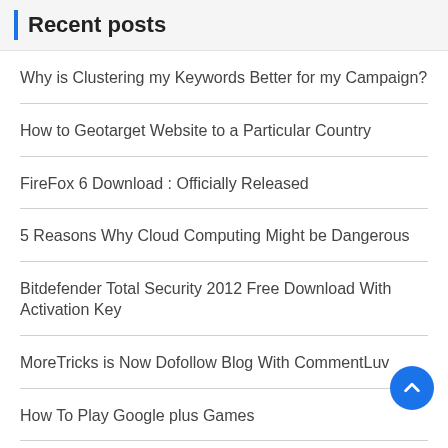Recent posts
Why is Clustering my Keywords Better for my Campaign?
How to Geotarget Website to a Particular Country
FireFox 6 Download : Officially Released
5 Reasons Why Cloud Computing Might be Dangerous
Bitdefender Total Security 2012 Free Download With Activation Key
MoreTricks is Now Dofollow Blog With CommentLuv
How To Play Google plus Games
How to Get Invisible in Facebook Chat
Index Your Post in Google Search Using Webmaster Tools